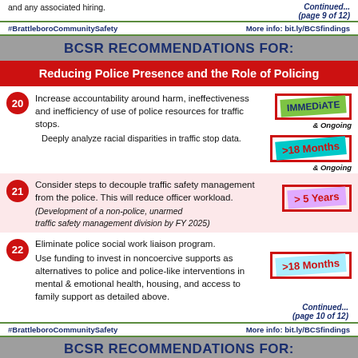and any associated hiring.
Continued... (page 9 of 12)
#BrattleboroCommunitySafety   More info: bit.ly/BCSfindings
BCSR RECOMMENDATIONS FOR:
Reducing Police Presence and the Role of Policing
20 Increase accountability around harm, ineffectiveness and inefficiency of use of police resources for traffic stops. [IMMEDIATE & Ongoing]
Deeply analyze racial disparities in traffic stop data. [>18 Months & Ongoing]
21 Consider steps to decouple traffic safety management from the police. This will reduce officer workload. (Development of a non-police, unarmed traffic safety management division by FY 2025) [> 5 Years]
22 Eliminate police social work liaison program. Use funding to invest in noncoercive supports as alternatives to police and police-like interventions in mental & emotional health, housing, and access to family support as detailed above. [>18 Months]
Continued... (page 10 of 12)
#BrattleboroCommunitySafety   More info: bit.ly/BCSfindings
BCSR RECOMMENDATIONS FOR: